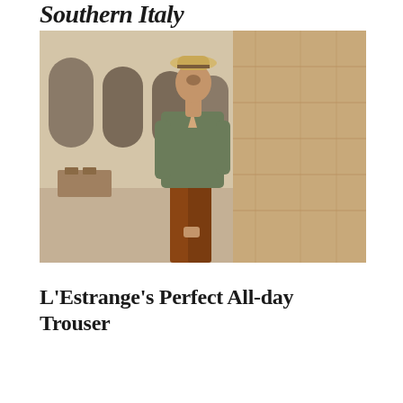Southern Italy
[Figure (photo): A man wearing a straw fedora hat, an olive green linen shirt, and brown/rust trousers, leaning against a sandy stone wall or column in what appears to be a sunlit southern Italian piazza or square, with arched buildings visible in the background.]
L'Estrange's Perfect All-day Trouser